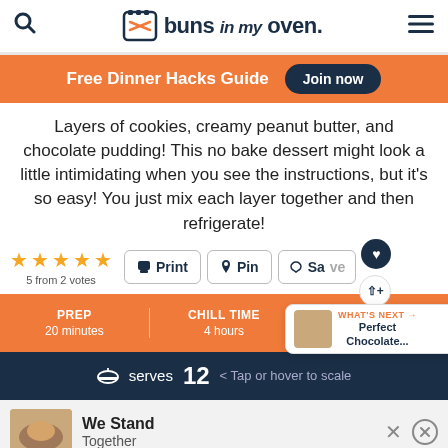buns in my oven.
Free Dinner Hacks Guide  Join now
Layers of cookies, creamy peanut butter, and chocolate pudding! This no bake dessert might look a little intimidating when you see the instructions, but it's so easy! You just mix each layer together and then refrigerate!
5 from 2 votes  Print  Pin  Save
PREP 20 minutes  CHILL TIME 4 hours  TOTAL
serves 12  < Tap or hover to scale
We Stand Together